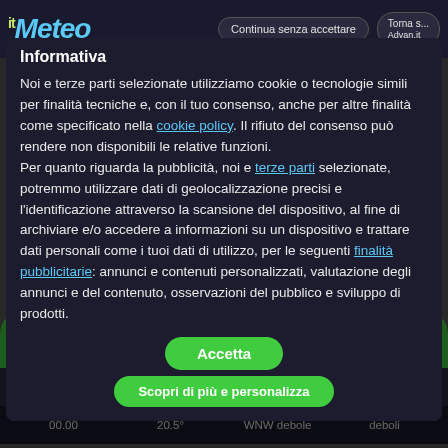AitMeteo | Continua senza accettare | Torna s... Advan.it
Informativa
Noi e terze parti selezionate utilizziamo cookie o tecnologie simili per finalità tecniche e, con il tuo consenso, anche per altre finalità come specificato nella cookie policy. Il rifiuto del consenso può rendere non disponibili le relative funzioni.
Per quanto riguarda la pubblicità, noi e terze parti selezionate, potremmo utilizzare dati di geolocalizzazione precisi e l'identificazione attraverso la scansione del dispositivo, al fine di archiviare e/o accedere a informazioni su un dispositivo e trattare dati personali come i tuoi dati di utilizzo, per le seguenti finalità pubblicitarie: annunci e contenuti personalizzati, valutazione degli annunci e del contenuto, osservazioni del pubblico e sviluppo di prodotti.
Accetta
Scopri di più e personalizza
| OGGI | DOM 21 | LUN 22 | MAR 23 | MER 24 | GIO 25 | VEN 26 |
| --- | --- | --- | --- | --- | --- | --- |
| Ora | T(°C) | Vento (km/h) | Precipitaz. |
| --- | --- | --- | --- |
| 00.00 | 20.5° | WNW debole | deboli |